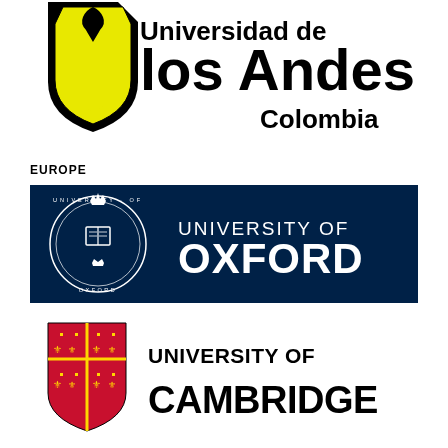[Figure (logo): Universidad de los Andes Colombia logo — black shield with yellow torch flame shape, text 'los Andes' in large bold black, 'Colombia' in bold black below]
EUROPE
[Figure (logo): University of Oxford logo — navy blue rectangular banner with white circular crest on left and white text 'UNIVERSITY OF OXFORD' on right]
[Figure (logo): University of Cambridge logo — white background with red and gold shield crest on left and large bold black text 'UNIVERSITY OF CAMBRIDGE' on right]